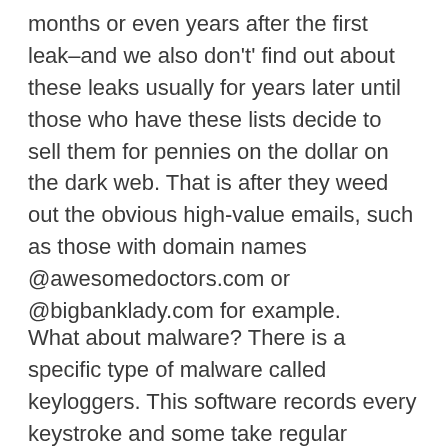months or even years after the first leak–and we also don't' find out about these leaks usually for years later until those who have these lists decide to sell them for pennies on the dollar on the dark web. That is after they weed out the obvious high-value emails, such as those with domain names @awesomedoctors.com or @bigbanklady.com for example.
What about malware? There is a specific type of malware called keyloggers. This software records every keystroke and some take regular screenshots of your desktop, all without you knowing. This information is than